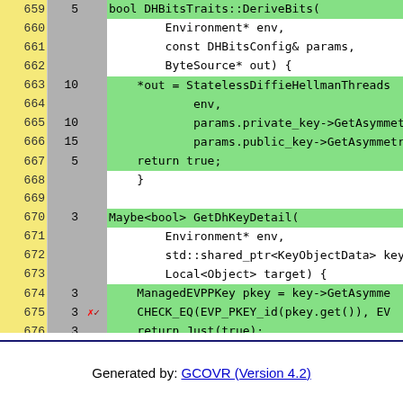[Figure (screenshot): Code coverage view showing C++ source code lines 659-680. Left column shows line numbers on yellow background, middle column shows execution counts on gray background, right column shows source code with green highlighting for covered lines. Lines include DHBitsTraits::DeriveBits function, StatelessDiffieHellman calls, GetDhKeyDetail function, ManagedEVPPKey, CHECK_EQ, return Just(true), and namespace closing braces.]
Generated by: GCOVR (Version 4.2)